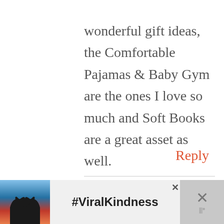wonderful gift ideas, the Comfortable Pajamas & Baby Gym are the ones I love so much and Soft Books are a great asset as well.
Reply
JASMINE WATTS
NOVEMBER 17, 2016 AT 1:15 AM
[Figure (photo): Advertisement banner with silhouette of hands forming a heart shape against a sunset sky background, with text #ViralKindness]